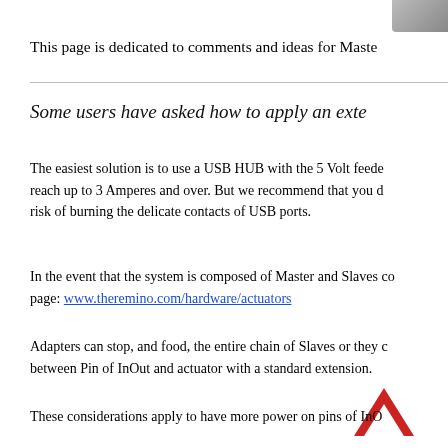[Figure (logo): Gray logo/image in top-right corner]
This page is dedicated to comments and ideas for Maste
Some users have asked how to apply an exte
The easiest solution is to use a USB HUB with the 5 Volt feede reach up to 3 Amperes and over. But we recommend that you d risk of burning the delicate contacts of USB ports.
In the event that the system is composed of Master and Slaves co page: www.theremino.com/hardware/actuators
Adapters can stop, and food, the entire chain of Slaves or they c between Pin of InOut and actuator with a standard extension.
[Figure (illustration): Red upward chevron/arrow icon]
These considerations apply to have more power on pins of InO